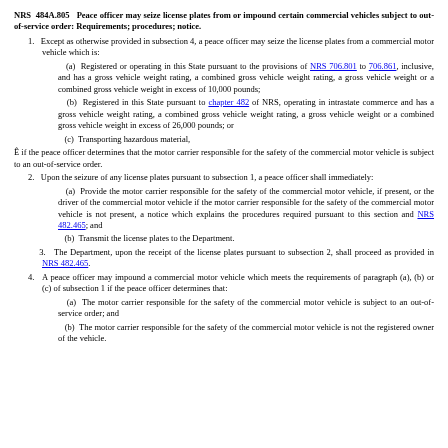NRS 484A.805 Peace officer may seize license plates from or impound certain commercial vehicles subject to out-of-service order: Requirements; procedures; notice.
1. Except as otherwise provided in subsection 4, a peace officer may seize the license plates from a commercial motor vehicle which is:
(a) Registered or operating in this State pursuant to the provisions of NRS 706.801 to 706.861, inclusive, and has a gross vehicle weight rating, a combined gross vehicle weight rating, a gross vehicle weight or a combined gross vehicle weight in excess of 10,000 pounds;
(b) Registered in this State pursuant to chapter 482 of NRS, operating in intrastate commerce and has a gross vehicle weight rating, a combined gross vehicle weight rating, a gross vehicle weight or a combined gross vehicle weight in excess of 26,000 pounds; or
(c) Transporting hazardous material,
Ê if the peace officer determines that the motor carrier responsible for the safety of the commercial motor vehicle is subject to an out-of-service order.
2. Upon the seizure of any license plates pursuant to subsection 1, a peace officer shall immediately:
(a) Provide the motor carrier responsible for the safety of the commercial motor vehicle, if present, or the driver of the commercial motor vehicle if the motor carrier responsible for the safety of the commercial motor vehicle is not present, a notice which explains the procedures required pursuant to this section and NRS 482.465; and
(b) Transmit the license plates to the Department.
3. The Department, upon the receipt of the license plates pursuant to subsection 2, shall proceed as provided in NRS 482.465.
4. A peace officer may impound a commercial motor vehicle which meets the requirements of paragraph (a), (b) or (c) of subsection 1 if the peace officer determines that:
(a) The motor carrier responsible for the safety of the commercial motor vehicle is subject to an out-of-service order; and
(b) The motor carrier responsible for the safety of the commercial motor vehicle is not the registered owner of the vehicle.